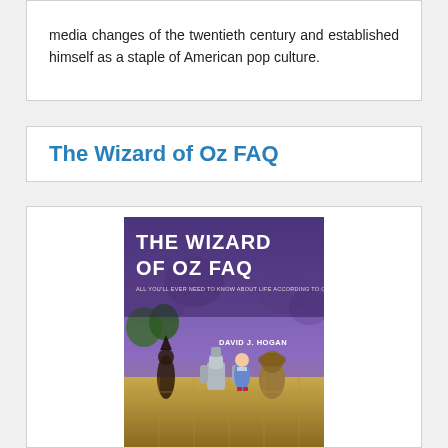media changes of the twentieth century and established himself as a staple of American pop culture.
The Wizard of Oz FAQ
[Figure (photo): Book cover of 'The Wizard of Oz FAQ' by David J. Hogan, showing the main characters from the Wizard of Oz film on a yellow brick road with a purple sky background. The title text is in large white bold letters.]